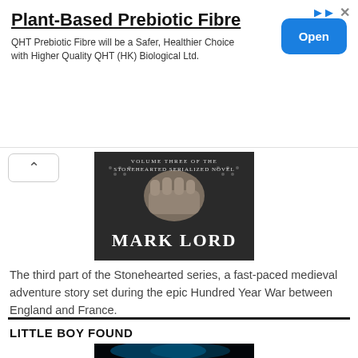[Figure (screenshot): Advertisement banner for 'Plant-Based Prebiotic Fibre' by QHT (HK) Biological Ltd with an 'Open' button]
Plant-Based Prebiotic Fibre
QHT Prebiotic Fibre will be a Safer, Healthier Choice with Higher Quality QHT (HK) Biological Ltd.
[Figure (photo): Book cover for 'Mark Lord' - Volume Three of the Stonehearted Serialized Novel, showing a fist in chainmail armor against a dark background]
The third part of the Stonehearted series, a fast-paced medieval adventure story set during the epic Hundred Year War between England and France.
LITTLE BOY FOUND
[Figure (photo): Partial book cover image showing blue light rays on black background]